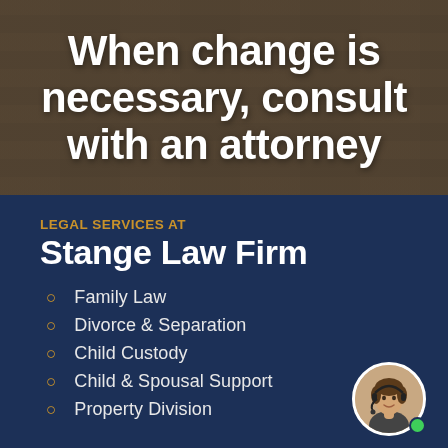When change is necessary, consult with an attorney
LEGAL SERVICES AT
Stange Law Firm
Family Law
Divorce & Separation
Child Custody
Child & Spousal Support
Property Division
[Figure (photo): Circular avatar photo of a woman wearing a headset, with a green online indicator dot in the bottom right]